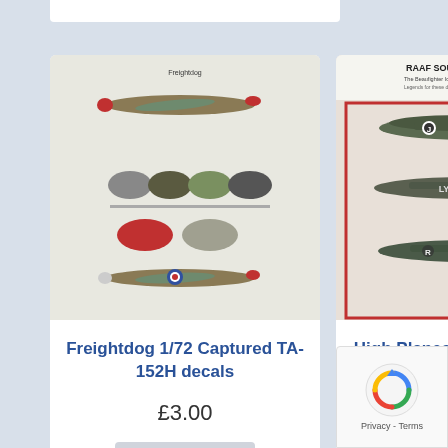[Figure (screenshot): Product card for Freightdog 1/72 Captured TA-152H decals showing decal sheet image with aircraft markings]
Freightdog 1/72 Captured TA-152H decals
£3.00
Add to basket
[Figure (screenshot): Product card for High Planes 1/48 Beaufighter Ic/VIc decal sheet showing RAAF South West Pacific decals with three aircraft]
High Planes 1/48 Beaufighter Ic/VIc decal sheet
£12.00
Add to basket
[Figure (other): reCAPTCHA privacy badge with rotating arrows logo, Privacy - Terms text]